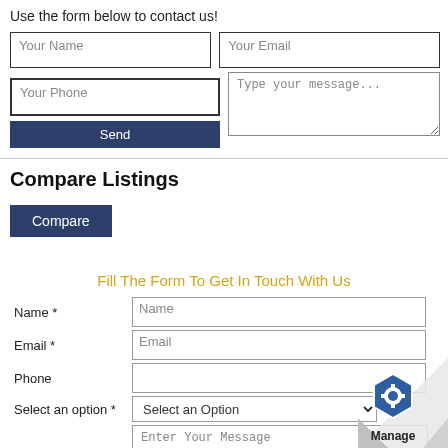Use the form below to contact us!
[Figure (screenshot): Contact form with fields: Your Name, Your Email, message textarea, Your Phone, and a Send button]
Compare Listings
[Figure (screenshot): Compare button in dark navy blue]
Fill The Form To Get In Touch With Us
[Figure (screenshot): Contact form with Name, Email, Phone, Select an option dropdown, Message textarea, and Submit button]
[Figure (logo): Manage logo with hexagon icon and page curl effect in bottom right corner]